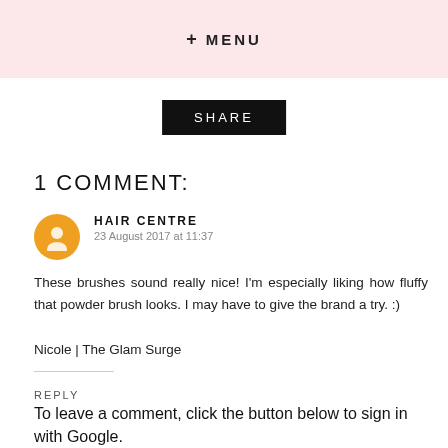+ MENU
SHARE
1 COMMENT:
HAIR CENTRE
23 August 2017 at 11:37

These brushes sound really nice! I'm especially liking how fluffy that powder brush looks. I may have to give the brand a try. :)

Nicole | The Glam Surge
REPLY
To leave a comment, click the button below to sign in with Google.